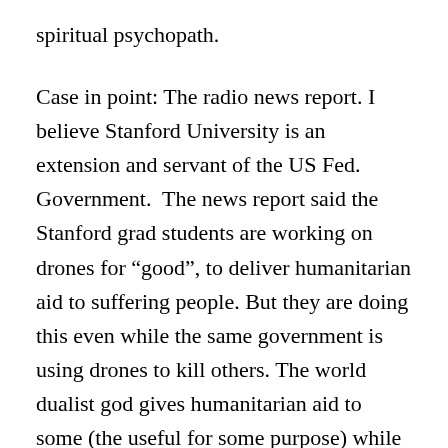spiritual psychopath.
Case in point: The radio news report. I believe Stanford University is an extension and servant of the US Fed. Government.  The news report said the Stanford grad students are working on drones for “good”, to deliver humanitarian aid to suffering people. But they are doing this even while the same government is using drones to kill others. The world dualist god gives humanitarian aid to some (the useful for some purpose) while it kills others (the undesirables). All on the same day. Drones for aiding people. Drones for killing people.  Double minded is